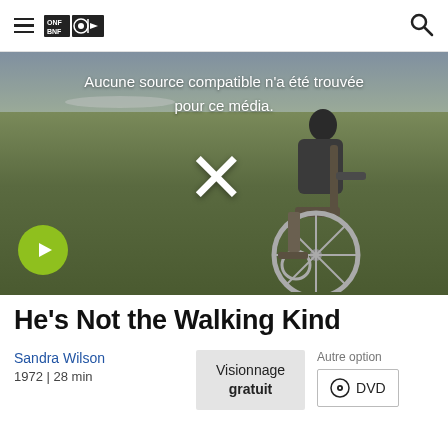≡ ONF BNF [logo] 🔍
[Figure (screenshot): Video player screenshot showing a person in a wheelchair viewed from behind on a grassy field, with text overlay 'Aucune source compatible n'a été trouvée pour ce média.' and a large X symbol indicating no compatible media source. A yellow-green play button is visible in the bottom left.]
He's Not the Walking Kind
Sandra Wilson
1972 | 28 min
Visionnage gratuit
Autre option
DVD